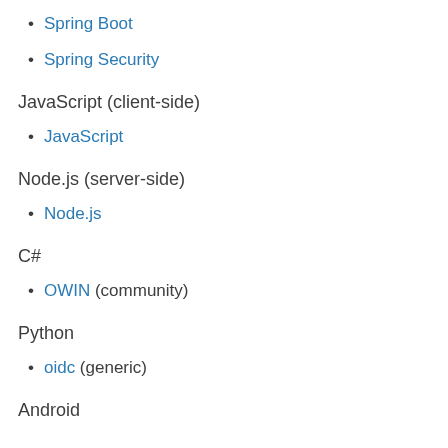Spring Boot
Spring Security
JavaScript (client-side)
JavaScript
Node.js (server-side)
Node.js
C#
OWIN (community)
Python
oidc (generic)
Android